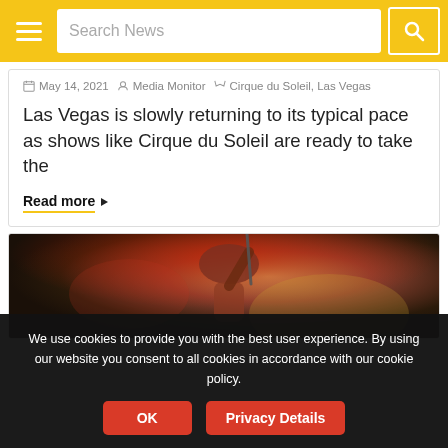Search News
May 14, 2021  Media Monitor  Cirque du Soleil, Las Vegas
Las Vegas is slowly returning to its typical pace as shows like Cirque du Soleil are ready to take the
Read more
[Figure (photo): A performer from Cirque du Soleil, shown from behind, doing an acrobatic pose with red and golden lighting.]
We use cookies to provide you with the best user experience. By using our website you consent to all cookies in accordance with our cookie policy.